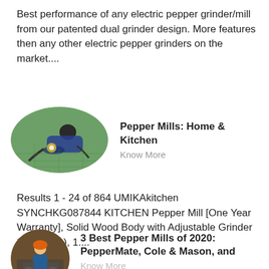Best performance of any electric pepper grinder/mill from our patented dual grinder design. More features then any other electric pepper grinders on the market....
[Figure (photo): Oval thumbnail image of a person working on a green industrial surface, welding or grinding with sparks visible.]
Pepper Mills: Home & Kitchen
Know More
Results 1 - 24 of 864 UMIKAkitchen SYNCHKG087844 KITCHEN Pepper Mill [One Year Warranty], Solid Wood Body with Adjustable Grinder 8"(1 Piece), 1....
[Figure (photo): Small oval thumbnail image of a person in industrial/warehouse setting wearing an orange helmet.]
3 Best Pepper Mills of 2020: PepperMate, Cole & Mason, and
Know More